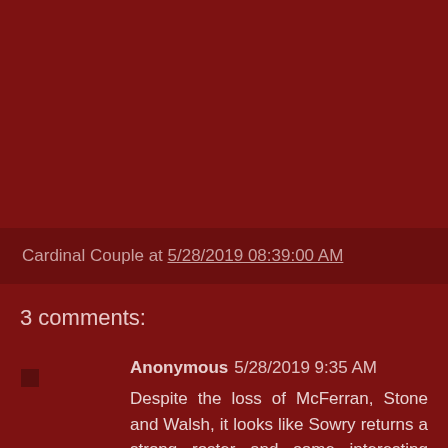Cardinal Couple at 5/28/2019 08:39:00 AM
3 comments:
Anonymous 5/28/2019 9:35 AM
Despite the loss of McFerran, Stone and Walsh, it looks like Sowry returns a strong roster and some interesting freshmen.